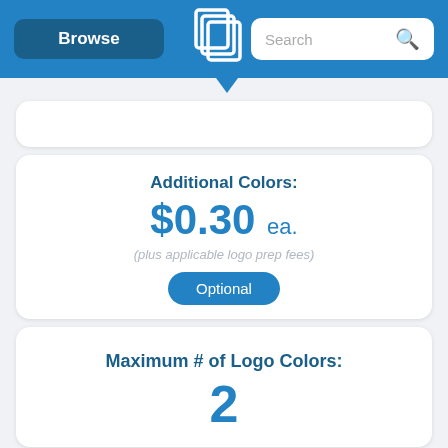Browse | [Logo] | Search
Additional Colors: $0.30 ea.
(plus applicable logo prep fees)
Optional
Maximum # of Logo Colors: 2